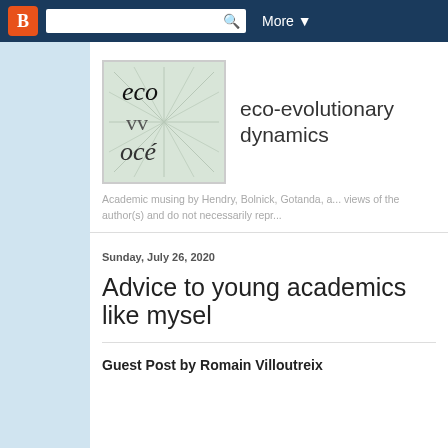Blogger navigation bar with search and More dropdown
[Figure (logo): eco vv oce blog logo with botanical background, text laid out as eco / vv / oce in serif font]
eco-evolutionary dynamics
Academic musing by Hendry, Bolnick, Gotanda, a... views of the author(s) and do not necessarily repr...
Sunday, July 26, 2020
Advice to young academics like mysel
Guest Post by Romain Villoutreix